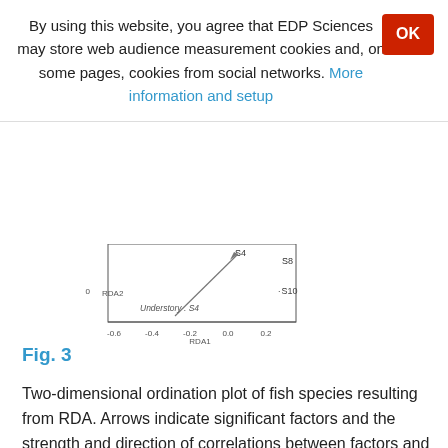By using this website, you agree that EDP Sciences may store web audience measurement cookies and, on some pages, cookies from social networks. More information and setup
[Figure (continuous-plot): Partial view of a two-dimensional RDA ordination plot showing axes RDA1 (x-axis, range approximately -0.6 to 0.2) and RDA2 (y-axis), with species labels (S4, S8, S10) and an arrow labeled 'Understory . S4']
Fig. 3
Two-dimensional ordination plot of fish species resulting from RDA. Arrows indicate significant factors and the strength and direction of correlations between factors and species compositions (species in the streams: S1 Plecoglossus altivelis, S2 Oncorhynchus masou, S3 Rhinogobius sp. CO, S4 Rhinogobius nagoyae, S5 Rhinogobius brunneus, S6 Rhinogobius sp., S7 Gymnogobius petschiliensis, S8 Gymnogobius opperiens, S9 Luciogobius guttatus, S10